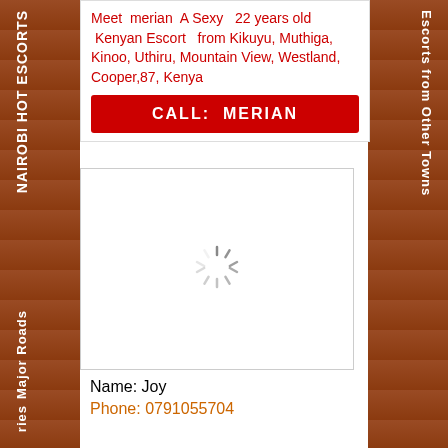Meet merian A Sexy 22 years old Kenyan Escort from Kikuyu, Muthiga, Kinoo, Uthiru, Mountain View, Westland, Cooper,87, Kenya
CALL: MERIAN
[Figure (photo): Loading spinner / image placeholder with spinning loader icon]
Name: Joy
Phone: 0791055704
NAIROBI HOT ESCORTS
Major Roads
ries
Escorts from Other Towns